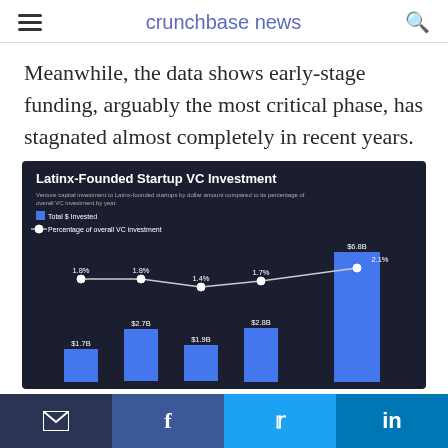crunchbase news
Meanwhile, the data shows early-stage funding, arguably the most critical phase, has stagnated almost completely in recent years.
[Figure (grouped-bar-chart): Venture capital investment to Latinx-founded startups by dollar amount compared to its percentage of overall VC investment by year.]